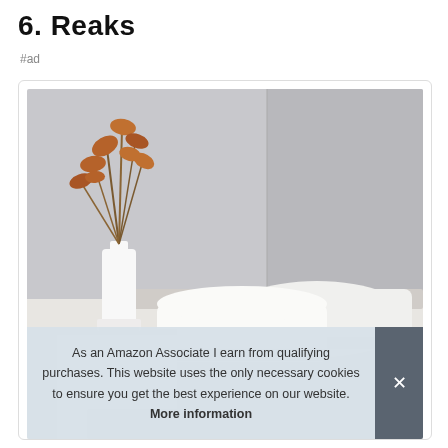6. Reaks
#ad
[Figure (photo): Bedroom scene with white pillows and a white vase containing dried brown leaves/branches on a white nightstand, against a grey wall background.]
As an Amazon Associate I earn from qualifying purchases. This website uses the only necessary cookies to ensure you get the best experience on our website. More information